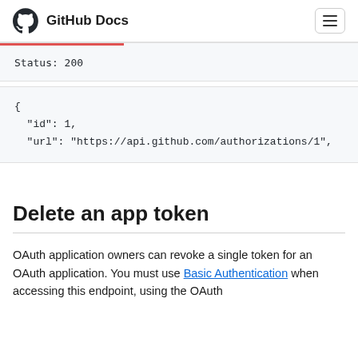GitHub Docs
Status: 200
{
  "id": 1,
  "url": "https://api.github.com/authorizations/1",
Delete an app token
OAuth application owners can revoke a single token for an OAuth application. You must use Basic Authentication when accessing this endpoint, using the OAuth